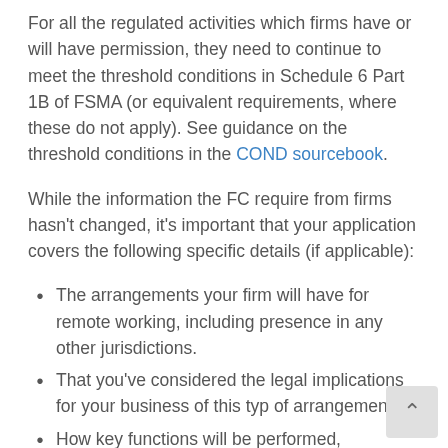For all the regulated activities which firms have or will have permission, they need to continue to meet the threshold conditions in Schedule 6 Part 1B of FSMA (or equivalent requirements, where these do not apply). See guidance on the threshold conditions in the COND sourcebook.
While the information the FC require from firms hasn't changed, it's important that your application covers the following specific details (if applicable):
The arrangements your firm will have for remote working, including presence in any other jurisdictions.
That you've considered the legal implications for your business of this typ of arrangement.
How key functions will be performed,